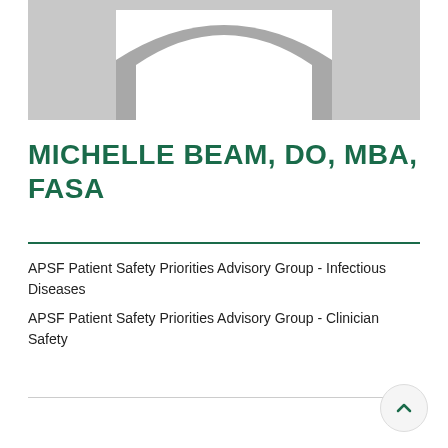[Figure (photo): Profile placeholder silhouette icon on grey background]
MICHELLE BEAM, DO, MBA, FASA
APSF Patient Safety Priorities Advisory Group - Infectious Diseases
APSF Patient Safety Priorities Advisory Group - Clinician Safety